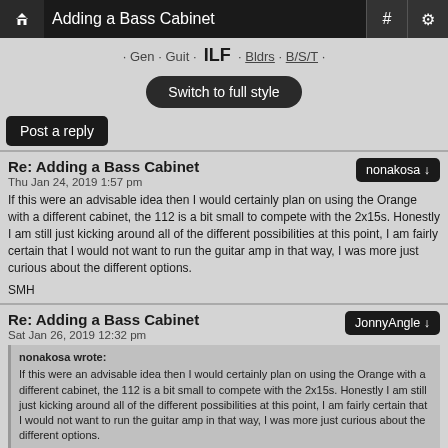Adding a Bass Cabinet
· Gen · Guit · ILF · Bldrs · B/S/T ·
Switch to full style
Post a reply
Re: Adding a Bass Cabinet
Thu Jan 24, 2019 1:57 pm
nonakosa ↓
If this were an advisable idea then I would certainly plan on using the Orange with a different cabinet, the 112 is a bit small to compete with the 2x15s. Honestly I am still just kicking around all of the different possibilities at this point, I am fairly certain that I would not want to run the guitar amp in that way, I was more just curious about the different options.

SMH
Re: Adding a Bass Cabinet
Sat Jan 26, 2019 12:32 pm
JonnyAngle ↓
nonakosa wrote:
If this were an advisable idea then I would certainly plan on using the Orange with a different cabinet, the 112 is a bit small to compete with the 2x15s. Honestly I am still just kicking around all of the different possibilities at this point, I am fairly certain that I would not want to run the guitar amp in that way, I was more just curious about the different options.

SMH